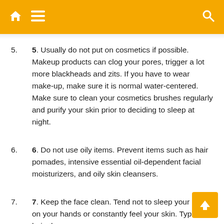Navigation header with home, menu, and search icons
5. Usually do not put on cosmetics if possible. Makeup products can clog your pores, trigger a lot more blackheads and zits. If you have to wear make-up, make sure it is normal water-centered. Make sure to clean your cosmetics brushes regularly and purify your skin prior to deciding to sleep at night.
6. Do not use oily items. Prevent items such as hair pomades, intensive essential oil-dependent facial moisturizers, and oily skin cleansers.
7. Keep the face clean. Tend not to sleep your chin on your hands or constantly feel your skin. Typical hair shampoo your